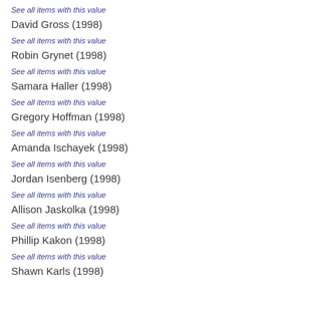See all items with this value
David Gross (1998)
See all items with this value
Robin Grynet (1998)
See all items with this value
Samara Haller (1998)
See all items with this value
Gregory Hoffman (1998)
See all items with this value
Amanda Ischayek (1998)
See all items with this value
Jordan Isenberg (1998)
See all items with this value
Allison Jaskolka (1998)
See all items with this value
Phillip Kakon (1998)
See all items with this value
Shawn Karls (1998)